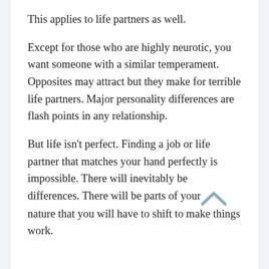This applies to life partners as well.
Except for those who are highly neurotic, you want someone with a similar temperament. Opposites may attract but they make for terrible life partners. Major personality differences are flash points in any relationship.
But life isn't perfect. Finding a job or life partner that matches your hand perfectly is impossible. There will inevitably be differences. There will be parts of your nature that you will have to shift to make things work.